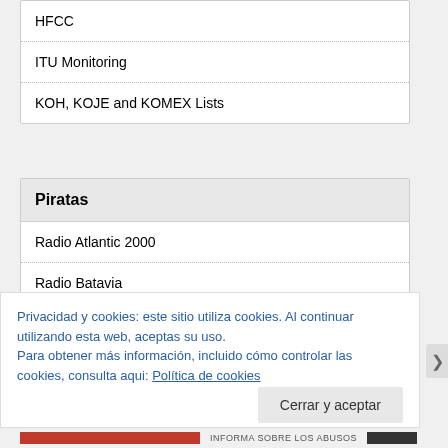HFCC
ITU Monitoring
KOH, KOJE and KOMEX Lists
Piratas
Radio Atlantic 2000
Radio Batavia
Radio Latino
Privacidad y cookies: este sitio utiliza cookies. Al continuar utilizando esta web, aceptas su uso.
Para obtener más información, incluido cómo controlar las cookies, consulta aqui: Política de cookies
Cerrar y aceptar